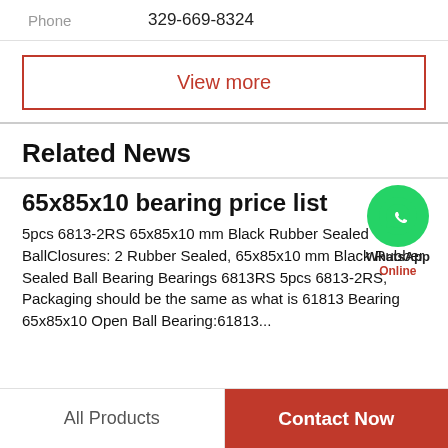Phone   329-669-8324
View more
Related News
65x85x10 bearing price list
5pcs 6813-2RS 65x85x10 mm Black Rubber Sealed BallClosures: 2 Rubber Sealed, 65x85x10 mm Black Rubber Sealed Ball Bearing Bearings 6813RS 5pcs 6813-2RS, Packaging should be the same as what is 61813 Bearing 65x85x10 Open Ball Bearing:61813...
All Products   Contact Now